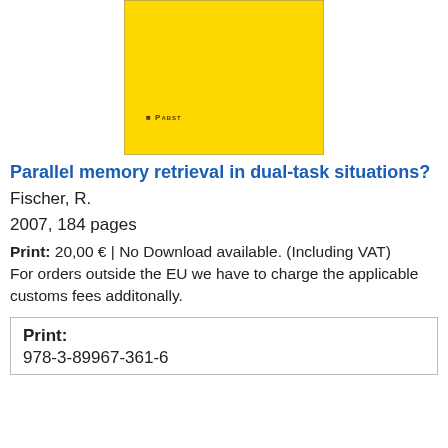[Figure (illustration): Book cover with yellow background and Pabst publisher logo in lower left corner]
Parallel memory retrieval in dual-task situations?
Fischer, R.
2007, 184 pages
Print: 20,00 € | No Download available. (Including VAT)
For orders outside the EU we have to charge the applicable customs fees additonally.
| Print: | 978-3-89967-361-6 |